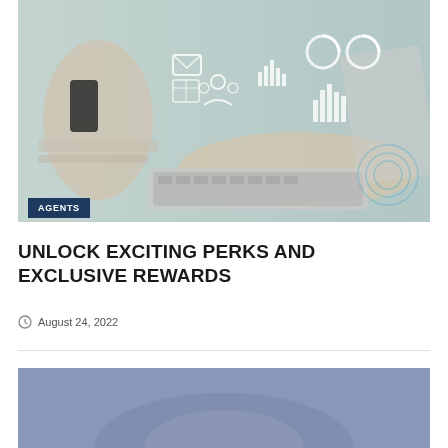[Figure (photo): Person typing on a laptop with a phone in hand; digital icons and charts overlaid on a light teal background, depicting technology and data analytics.]
AGENTS
UNLOCK EXCITING PERKS AND EXCLUSIVE REWARDS
August 24, 2022
[Figure (photo): Partial view of a second image with a dusty blue/lavender background, partially visible at the bottom of the page.]